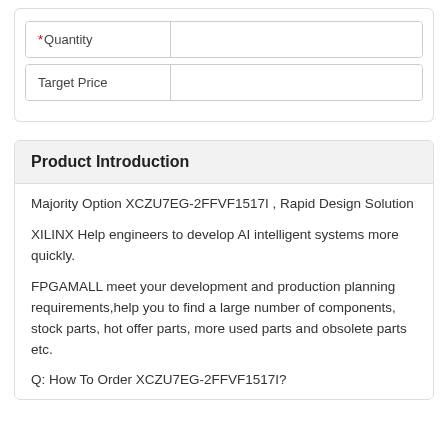| Field | Value |
| --- | --- |
| *Quantity |  |
| Target Price |  |
Product Introduction
Majority Option XCZU7EG-2FFVF1517I , Rapid Design Solution
XILINX Help engineers to develop AI intelligent systems more quickly.
FPGAMALL meet your development and production planning requirements,help you to find a large number of components, stock parts, hot offer parts, more used parts and obsolete parts etc.
Q: How To Order XCZU7EG-2FFVF1517I?